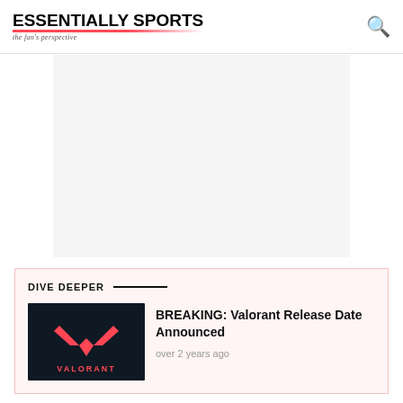ESSENTIALLY SPORTS — the fan's perspective
[Figure (other): Advertisement banner placeholder area with light gray background]
DIVE DEEPER
[Figure (logo): Valorant logo — dark navy background with red stylized V/wings icon and VALORANT text in red below]
BREAKING: Valorant Release Date Announced
over 2 years ago